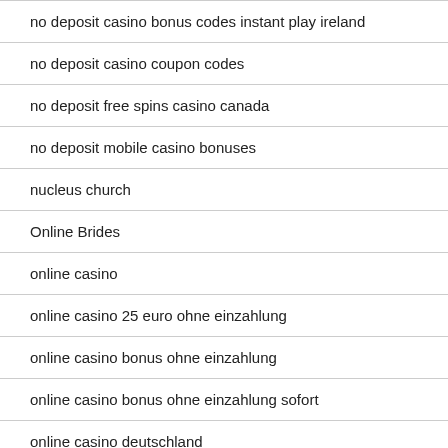no deposit casino bonus codes instant play ireland
no deposit casino coupon codes
no deposit free spins casino canada
no deposit mobile casino bonuses
nucleus church
Online Brides
online casino
online casino 25 euro ohne einzahlung
online casino bonus ohne einzahlung
online casino bonus ohne einzahlung sofort
online casino deutschland